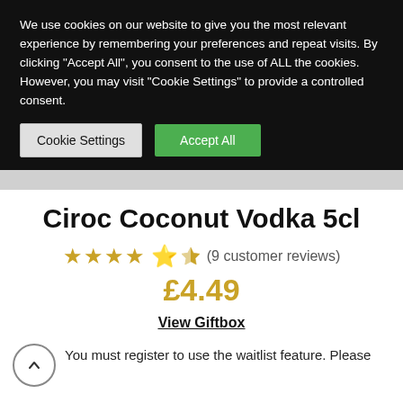We use cookies on our website to give you the most relevant experience by remembering your preferences and repeat visits. By clicking “Accept All”, you consent to the use of ALL the cookies. However, you may visit “Cookie Settings” to provide a controlled consent.
Cookie Settings
Accept All
Ciroc Coconut Vodka 5cl
★★★★⯐ (9 customer reviews)
£4.49
View Giftbox
You must register to use the waitlist feature. Please